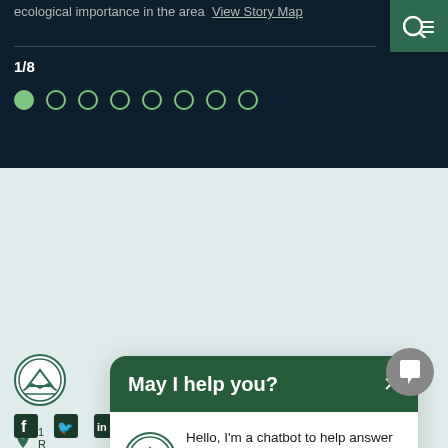ecological importance in the area View Story Map
1/8
[Figure (screenshot): Pagination dots row: 8 circles, first one filled green, rest outlined]
[Figure (logo): College circular logo with mountain and waves, green on white]
1  R
5
C
[Figure (screenshot): Chatbot popup with header 'May I help you?' and close X button, body with college logo and message: Hello, I'm a chatbot to help answer your Admissions, general Counseling, Financial Aid, CalWORKs, EOPS/PACE, Title IX, and IT Service Desk questions. What would you like to know?]
[Figure (screenshot): Gray circular chat button in bottom right corner]